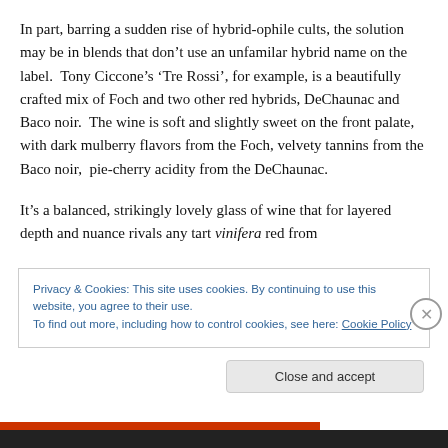In part, barring a sudden rise of hybrid-ophile cults, the solution may be in blends that don't use an unfamilar hybrid name on the label.  Tony Ciccone's 'Tre Rossi', for example, is a beautifully crafted mix of Foch and two other red hybrids, DeChaunac and Baco noir.  The wine is soft and slightly sweet on the front palate, with dark mulberry flavors from the Foch, velvety tannins from the Baco noir,  pie-cherry acidity from the DeChaunac.

It's a balanced, strikingly lovely glass of wine that for layered depth and nuance rivals any tart vinifera red from
Privacy & Cookies: This site uses cookies. By continuing to use this website, you agree to their use.
To find out more, including how to control cookies, see here: Cookie Policy
Close and accept